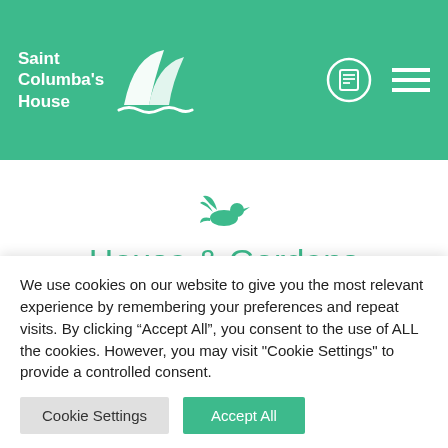[Figure (logo): Saint Columba's House logo with white text and sailing boat icon on green background, with menu icons on the right]
[Figure (illustration): Small green dove/bird icon centered above page title]
House & Gardens
House & Gardens | Meeting Space |
Accommodation | Worship Space | Catering | Self
We use cookies on our website to give you the most relevant experience by remembering your preferences and repeat visits. By clicking "Accept All", you consent to the use of ALL the cookies. However, you may visit "Cookie Settings" to provide a controlled consent.